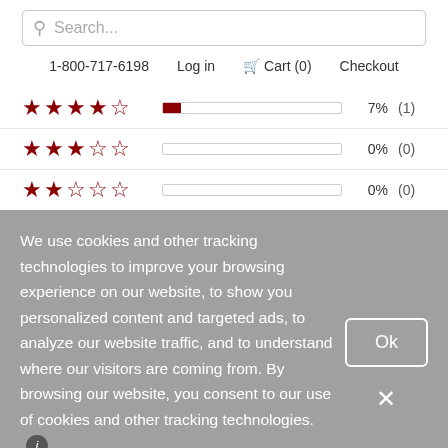Search...
1-800-717-6198   Log in   Cart (0)   Checkout
| Stars | Bar | Percent | Count |
| --- | --- | --- | --- |
| 4 stars (partially filled) | small fill | 7% | (1) |
| 3 stars | empty | 0% | (0) |
| 2 stars | empty | 0% | (0) |
| 1 star | empty | 0% | (0) |
We use cookies and other tracking technologies to improve your browsing experience on our website, to show you personalized content and targeted ads, to analyze our website traffic, and to understand where our visitors are coming from. By browsing our website, you consent to our use of cookies and other tracking technologies.